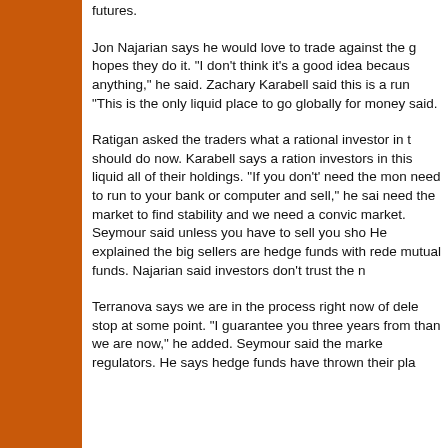futures.
Jon Najarian says he would love to trade against the g hopes they do it. "I don't think it's a good idea becaus anything," he said. Zachary Karabell said this is a run "This is the only liquid place to go globally for money said.
Ratigan asked the traders what a rational investor in t should do now. Karabell says a ration investors in this liquid all of their holdings. "If you don't' need the mon need to run to your bank or computer and sell," he sai need the market to find stability and we need a convic market. Seymour said unless you have to sell you sho He explained the big sellers are hedge funds with rede mutual funds. Najarian said investors don't trust the n
Terranova says we are in the process right now of dele stop at some point. "I guarantee you three years from than we are now," he added. Seymour said the marke regulators. He says hedge funds have thrown their pla